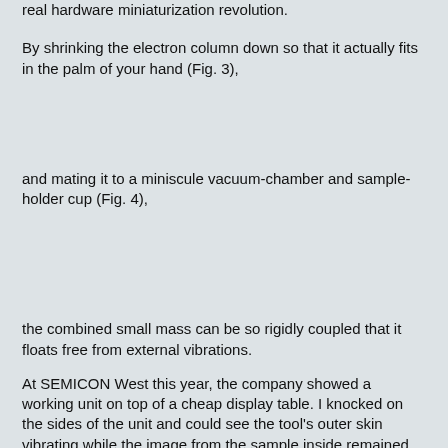real hardware miniaturization revolution.
By shrinking the electron column down so that it actually fits in the palm of your hand (Fig. 3),
and mating it to a miniscule vacuum-chamber and sample-holder cup (Fig. 4),
the combined small mass can be so rigidly coupled that it floats free from external vibrations.
At SEMICON West this year, the company showed a working unit on top of a cheap display table. I knocked on the sides of the unit and could see the tool's outer skin vibrating while the image from the sample inside remained rock solid (Fig. 5). The adjacent image was